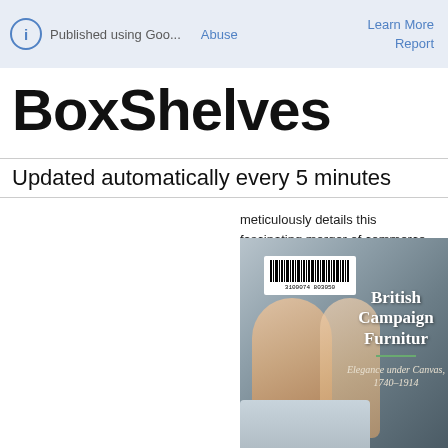ⓘ Published using Goo...   Learn More   Report   Abuse
BoxShelves
Updated automatically every 5 minutes
meticulously details this fascinating merger of commerce and craftsmanship."
[Figure (photo): Book cover of 'British Campaign Furniture – Elegance under Canvas, 1740–1914' showing a military campaign tent interior with draped fabric canopy and furniture, with a library barcode sticker visible at top]